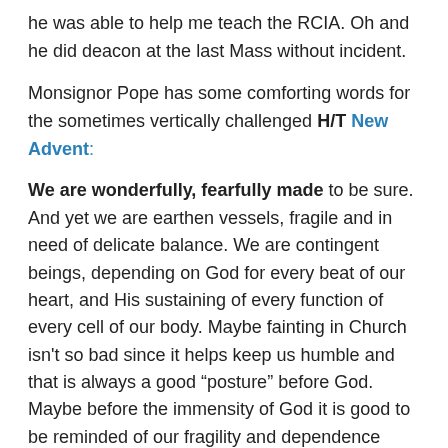he was able to help me teach the RCIA. Oh and he did deacon at the last Mass without incident.
Monsignor Pope has some comforting words for the sometimes vertically challenged H/T New Advent:
We are wonderfully, fearfully made to be sure. And yet we are earthen vessels, fragile and in need of delicate balance. We are contingent beings, depending on God for every beat of our heart, and His sustaining of every function of every cell of our body. Maybe fainting in Church isn't so bad since it helps keep us humble and that is always a good “posture” before God. Maybe before the immensity of God it is good to be reminded of our fragility and dependence upon Him for all things, even the most hidden processes of our body.
Monsignor found a very funny video. Here it is: